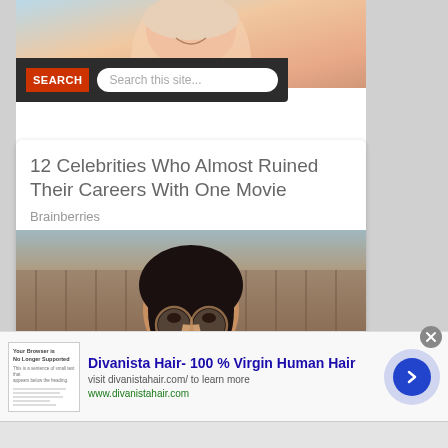[Figure (photo): Top portion of a photo showing a smiling woman in a pink/white top]
[Figure (screenshot): Search bar overlay with red SEARCH label and text input reading 'Search this site...']
12 Celebrities Who Almost Ruined Their Careers With One Movie
Brainberries
[Figure (photo): Photo of a person with dark bob haircut wearing sunglasses, holding a dark cup in front of their face, wearing an orange/brown top]
[Figure (screenshot): Ad banner: Divanista Hair- 100 % Virgin Human Hair, visit divanistahair.com/ to learn more, www.divanistahair.com, with thumbnail, text and arrow button]